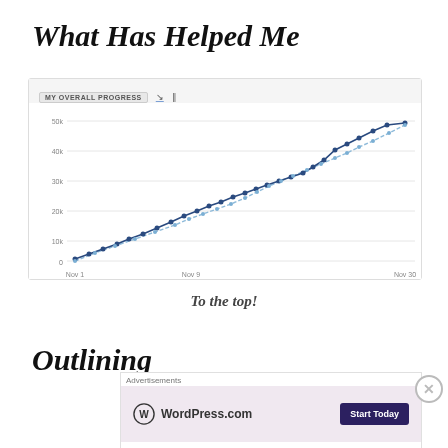What Has Helped Me
[Figure (line-chart): Line chart showing two upward-trending lines (one dark blue, one light blue dashed) from Nov 1 to Nov 30, rising from ~0 to ~49k-50k]
To the top!
Outlining